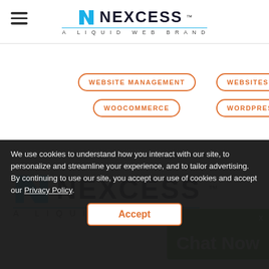[Figure (logo): Nexcess logo in header - N icon in blue, NEXCESS text in dark, A LIQUID WEB BRAND tagline, hamburger menu on left]
WEBSITE MANAGEMENT
WEBSITES
WOOCOMMERCE
WORDPRESS
[Figure (logo): Large Nexcess logo - N icon in blue, NEXCESS text in dark navy, A LIQUID WEB BRAND tagline, blue underline divider]
[Figure (screenshot): Green Chat Now popup button with X close button in top right]
We use cookies to understand how you interact with our site, to personalize and streamline your experience, and to tailor advertising. By continuing to use our site, you accept our use of cookies and accept our Privacy Policy.
Accept